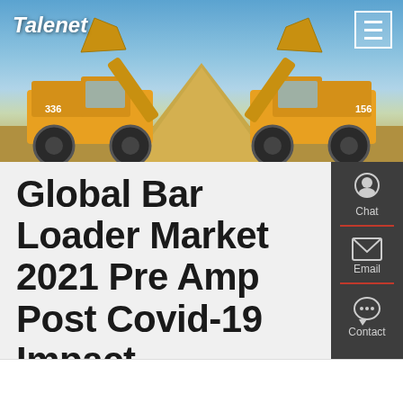Talenet
[Figure (photo): Two yellow wheel loaders facing each other with raised buckets over a sand pile, against a blue sky background. Construction equipment market research website header image.]
Global Bar Loader Market 2021 Pre Amp Post Covid-19 Impact
[Figure (infographic): Side panel with three contact options: Chat (person icon), Email (envelope icon), Contact (speech bubble icon), on dark grey background with red dividers.]